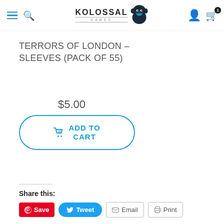Kolossal Games – navigation header with logo, menu, search, account, and cart icons
TERRORS OF LONDON – SLEEVES (PACK OF 55)
$5.00
ADD TO CART
Share this:
Save | Tweet | Email | Print